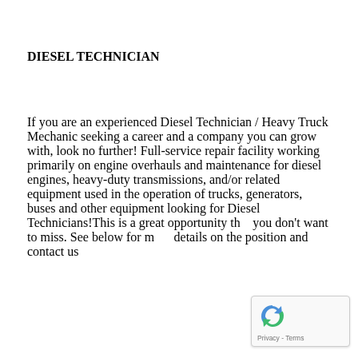DIESEL TECHNICIAN
If you are an experienced Diesel Technician / Heavy Truck Mechanic seeking a career and a company you can grow with, look no further! Full-service repair facility working primarily on engine overhauls and maintenance for diesel engines, heavy-duty transmissions, and/or related equipment used in the operation of trucks, generators, buses and other equipment looking for Diesel Technicians!This is a great opportunity that you don't want to miss. See below for more details on the position and contact us